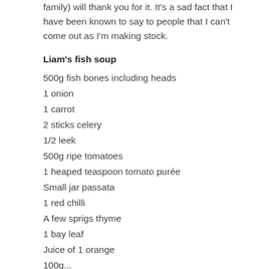family) will thank you for it. It's a sad fact that I have been known to say to people that I can't come out as I'm making stock.
Liam's fish soup
500g fish bones including heads
1 onion
1 carrot
2 sticks celery
1/2 leek
500g ripe tomatoes
1 heaped teaspoon tomato purée
Small jar passata
1 red chilli
A few sprigs thyme
1 bay leaf
Juice of 1 orange
100g...